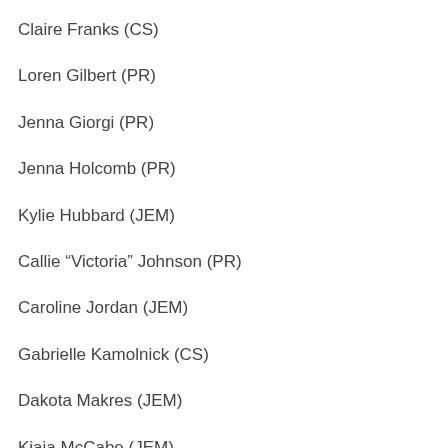Claire Franks (CS)
Loren Gilbert (PR)
Jenna Giorgi (PR)
Jenna Holcomb (PR)
Kylie Hubbard (JEM)
Callie "Victoria" Johnson (PR)
Caroline Jordan (JEM)
Gabrielle Kamolnick (CS)
Dakota Makres (JEM)
Kiaja McCabe (JEM)